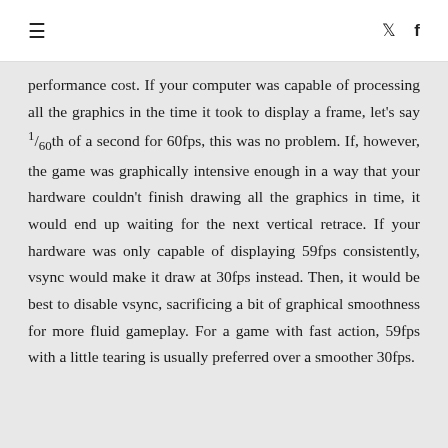≡   𝕥   f
performance cost. If your computer was capable of processing all the graphics in the time it took to display a frame, let's say 1/60th of a second for 60fps, this was no problem. If, however, the game was graphically intensive enough in a way that your hardware couldn't finish drawing all the graphics in time, it would end up waiting for the next vertical retrace. If your hardware was only capable of displaying 59fps consistently, vsync would make it draw at 30fps instead. Then, it would be best to disable vsync, sacrificing a bit of graphical smoothness for more fluid gameplay. For a game with fast action, 59fps with a little tearing is usually preferred over a smoother 30fps.